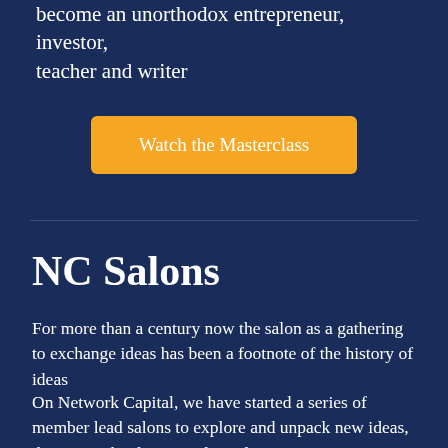become an unorthodox entrepreneur, investor, teacher and writer
Watch the Masterclass
NC Salons
For more than a century now the salon as a gathering to exchange ideas has been a footnote of the history of ideas
On Network Capital, we have started a series of member lead salons to explore and unpack new ideas, themes, technologies and trends. On